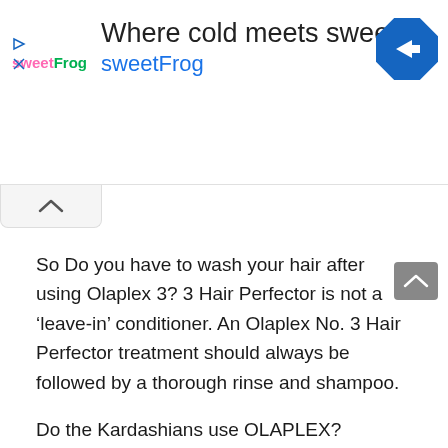[Figure (screenshot): SweetFrog advertisement banner with logo, tagline 'Where cold meets sweet', brand name 'sweetFrog', and a blue diamond-shaped navigation icon]
So Do you have to wash your hair after using Olaplex 3? 3 Hair Perfector is not a 'leave-in' conditioner. An Olaplex No. 3 Hair Perfector treatment should always be followed by a thorough rinse and shampoo.
Do the Kardashians use OLAPLEX?
Every now and then, Kim Kardashian serves up some of her favorite non-sponcon beauty products.